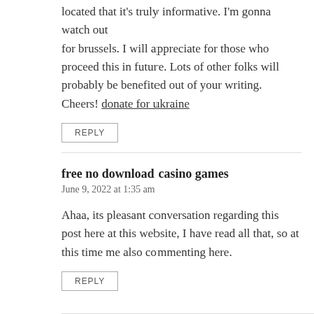located that it's truly informative. I'm gonna watch out for brussels. I will appreciate for those who proceed this in future. Lots of other folks will probably be benefited out of your writing. Cheers! donate for ukraine
REPLY
free no download casino games
June 9, 2022 at 1:35 am
Ahaa, its pleasant conversation regarding this post here at this website, I have read all that, so at this time me also commenting here.
REPLY